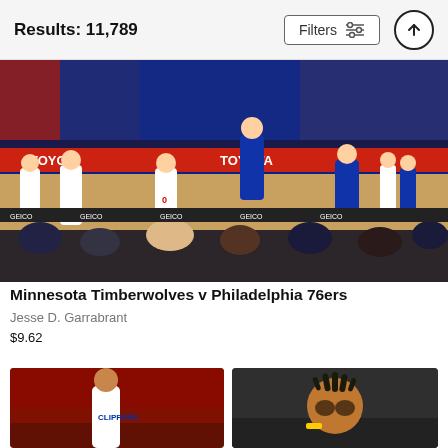Results: 11,789
[Figure (photo): NBA basketball game action shot: Minnesota Timberwolves vs Philadelphia 76ers players on court, crowd in background, Toyota arena signage visible]
Minnesota Timberwolves v Philadelphia 76ers
Jesse D. Garrabrant
$9.62
[Figure (photo): NBA player in Clippers uniform on court with red crowd background]
[Figure (photo): NBA player making goggles gesture with hands, wearing yellow wristband]